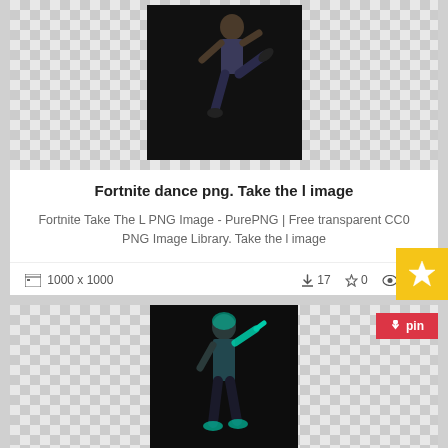[Figure (photo): Fortnite character doing Take the L dance pose on checkerboard transparent background]
Fortnite dance png. Take the l image
Fortnite Take The L PNG Image - PurePNG | Free transparent CC0 PNG Image Library. Take the l image
1000 x 1000   ↓17  ☆0  👁196
[Figure (photo): Fortnite character doing Intensity emote dance pose on checkerboard transparent background]
Fortnite dance png. Intensity emote fnbr co
Images. Icon. PNG. Intensity emote fnbr co